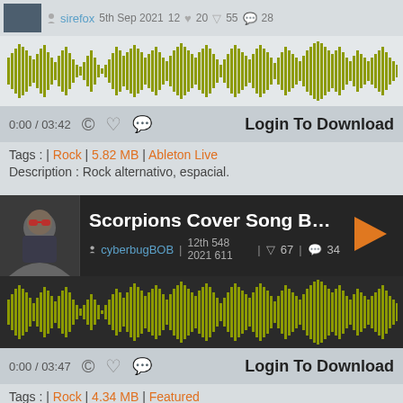[Figure (screenshot): Music streaming page showing two track listings. First track by sirefox, dated 5th Sep 2021, with waveform and player controls. Second track 'Scorpions Cover Song Ballad' by cyberbugBOB.]
sirefox  5th Sep 2021  12  ❤ 20  ▽ 55  💬 28
[Figure (continuous-plot): Audio waveform visualization in olive/yellow-green color on dark background for first track]
0:00 / 03:42  © ♡ 💬  Login To Download
Tags : | Rock | 5.82 MB | Ableton Live
Description : Rock alternativo, espacial.
Scorpions Cover Song Ballad
cyberbugBOB  12th 548 2021 611  ▽ 67  💬 34
[Figure (continuous-plot): Audio waveform visualization in olive/yellow-green color on dark background for second track]
0:00 / 03:47  © ♡ 💬  Login To Download
Tags : | Rock | 4.34 MB | Featured